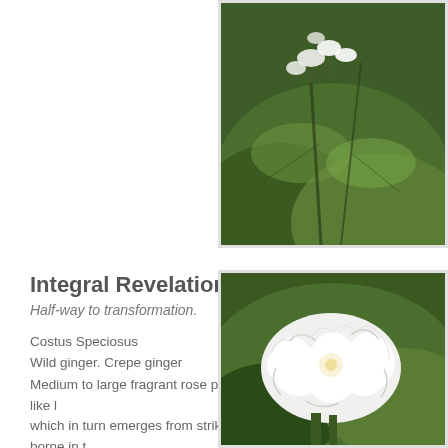[Figure (photo): Photo of white flowers with green foliage background, positioned at top right corner of the page]
Integral Revelation
Half-way to transformation.
Costus Speciosus
Wild ginger. Crepe ginger
Medium to large fragrant rose purple tubular flower with a petal-like l which in turn emerges from striking waxy deep red bracts; borne in t reedlike leafy stems.
[Figure (photo): Photo of a large white ruffled flower (Costus Speciosus / Crepe ginger) with green foliage background, positioned at bottom right corner of the page]